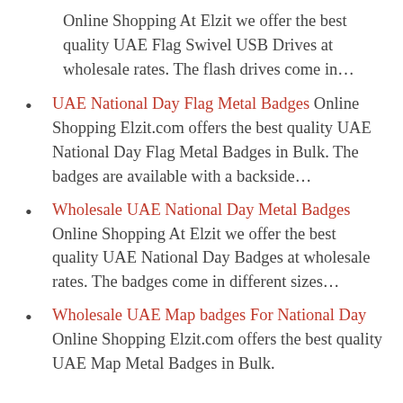Online Shopping At Elzit we offer the best quality UAE Flag Swivel USB Drives at wholesale rates. The flash drives come in…
UAE National Day Flag Metal Badges Online Shopping Elzit.com offers the best quality UAE National Day Flag Metal Badges in Bulk. The badges are available with a backside…
Wholesale UAE National Day Metal Badges Online Shopping At Elzit we offer the best quality UAE National Day Badges at wholesale rates. The badges come in different sizes…
Wholesale UAE Map badges For National Day Online Shopping Elzit.com offers the best quality UAE Map Metal Badges in Bulk.